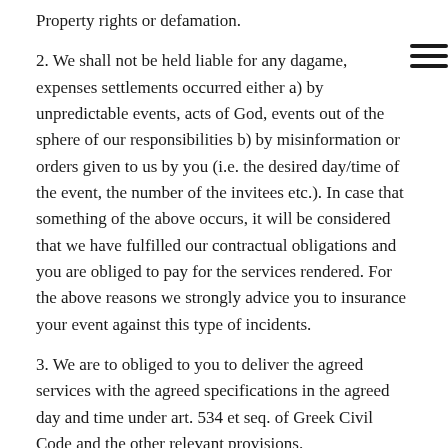Property rights or defamation.
2. We shall not be held liable for any dagame, expenses settlements occurred either a) by unpredictable events, acts of God, events out of the sphere of our responsibilities b) by misinformation or orders given to us by you (i.e. the desired day/time of the event, the number of the invitees etc.). In case that something of the above occurs, it will be considered that we have fulfilled our contractual obligations and you are obliged to pay for the services rendered. For the above reasons we strongly advice you to insurance your event against this type of incidents.
3. We are to obliged to you to deliver the agreed services with the agreed specifications in the agreed day and time under art. 534 et seq. of Greek Civil Code and the other relevant provisions.
Limitation of Liability and Disclaimer